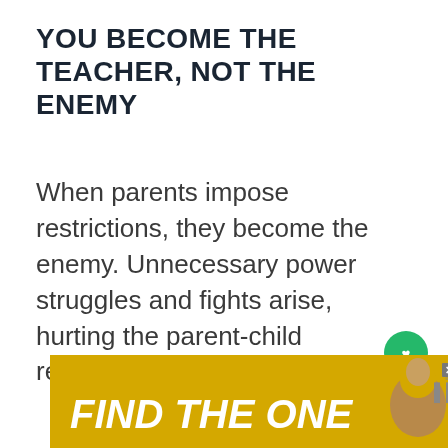YOU BECOME THE TEACHER, NOT THE ENEMY
When parents impose restrictions, they become the enemy. Unnecessary power struggles and fights arise, hurting the parent-child relationship.
[Figure (screenshot): UI overlay with heart/like button (green circle, count 17), share button, What's Next panel with thumbnail and title 'Time Out for Kids – Corre...', carousel dots, ad banner reading FIND THE ONE with dog image, and mute icon.]